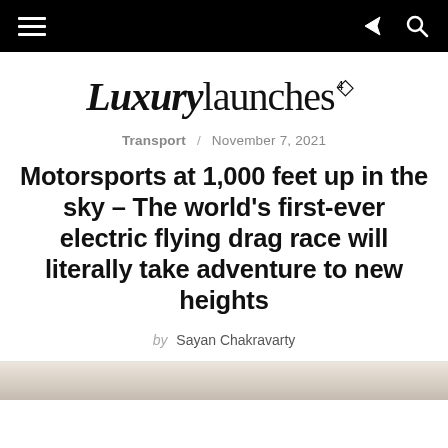Luxurylaunches [navigation bar with hamburger menu, share icon, search icon]
[Figure (logo): LuxuryLaunches logo with diamond badge icon]
Transport / November 7, 2021
Motorsports at 1,000 feet up in the sky – The world's first-ever electric flying drag race will literally take adventure to new heights
by Sayan Chakravarty